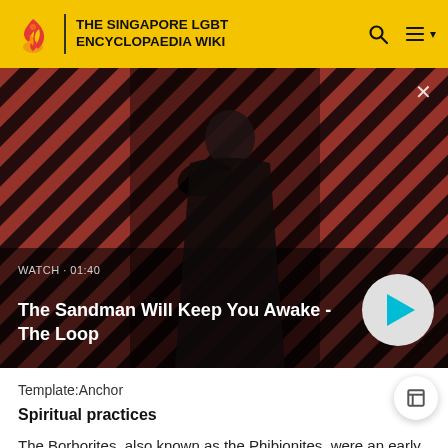THE SINGAPORE LGBT ENCYCLOPAEDIA WIKI
[Figure (screenshot): Video thumbnail showing a dark-robed figure with a raven on shoulder against a red and black diagonal striped background. Overlay text reads: WATCH · 01:40 / The Sandman Will Keep You Awake - The Loop. A play button circle is visible on the right.]
Template:Anchor
Spiritual practices
The Borborites, also known as the Phibionites, were an early Christian Gnostic sect during the late fourth century